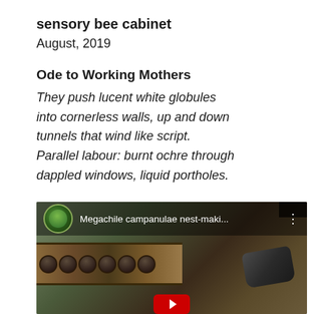sensory bee cabinet
August, 2019
Ode to Working Mothers
They push lucent white globules
into cornerless walls, up and down
tunnels that wind like script.
Parallel labour: burnt ochre through
dappled windows, liquid portholes.
[Figure (screenshot): Video thumbnail showing a bee nest-making video titled 'Megachile campanulae nest-maki...' with a circular avatar showing a green bee, bee nest holes visible, and a red play button at bottom.]